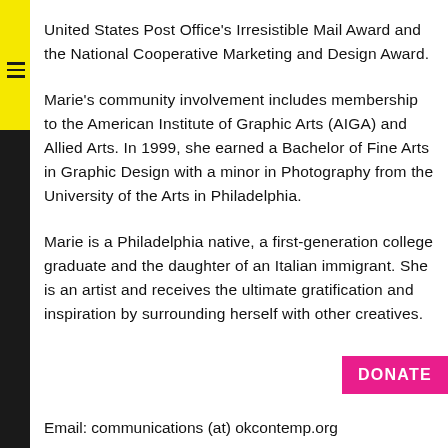United States Post Office's Irresistible Mail Award and the National Cooperative Marketing and Design Award.
Marie's community involvement includes membership to the American Institute of Graphic Arts (AIGA) and Allied Arts. In 1999, she earned a Bachelor of Fine Arts in Graphic Design with a minor in Photography from the University of the Arts in Philadelphia.
Marie is a Philadelphia native, a first-generation college graduate and the daughter of an Italian immigrant. She is an artist and receives the ultimate gratification and inspiration by surrounding herself with other creatives.
DONATE
Email: communications (at) okcontemp.org